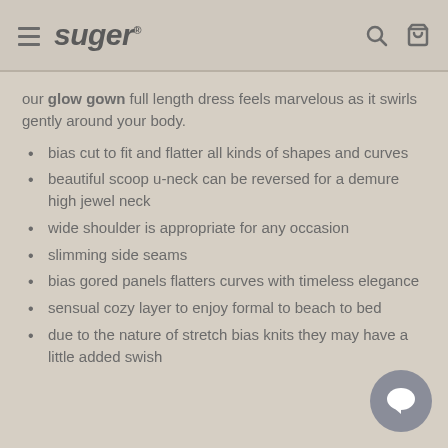suger
our glow gown full length dress feels marvelous as it swirls gently around your body.
bias cut to fit and flatter all kinds of shapes and curves
beautiful scoop u-neck can be reversed for a demure high jewel neck
wide shoulder is appropriate for any occasion
slimming side seams
bias gored panels flatters curves with timeless elegance
sensual cozy layer to enjoy formal to beach to bed
due to the nature of stretch bias knits they may have a little added swish